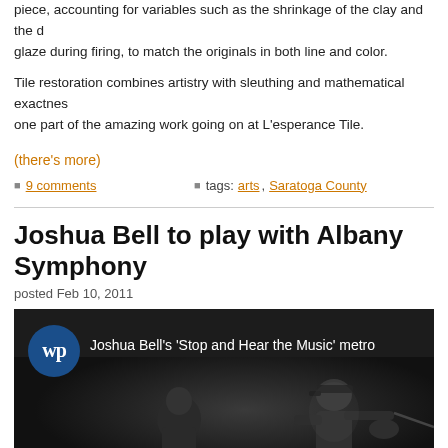piece, accounting for variables such as the shrinkage of the clay and the glaze during firing, to match the originals in both line and color.
Tile restoration combines artistry with sleuthing and mathematical exactness — one part of the amazing work going on at L'esperance Tile.
(there's more)
■ 9 comments   ■ tags: arts, Saratoga County
Joshua Bell to play with Albany Symphony
posted Feb 10, 2011
[Figure (screenshot): Washington Post video thumbnail showing Joshua Bell's 'Stop and Hear the Music' metro video, with WP logo badge and a dark image of a person playing violin]